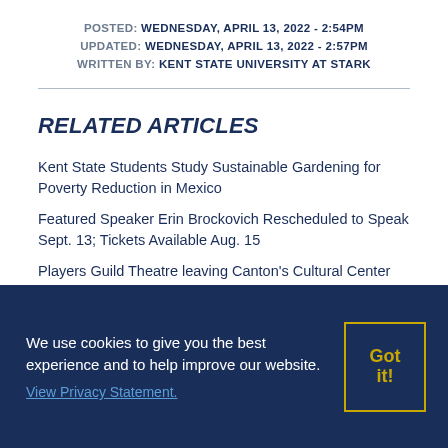POSTED: WEDNESDAY, APRIL 13, 2022 - 2:54PM
UPDATED: WEDNESDAY, APRIL 13, 2022 - 2:57PM
WRITTEN BY: KENT STATE UNIVERSITY AT STARK
RELATED ARTICLES
Kent State Students Study Sustainable Gardening for Poverty Reduction in Mexico
Featured Speaker Erin Brockovich Rescheduled to Speak Sept. 13; Tickets Available Aug. 15
Players Guild Theatre leaving Canton's Cultural Center for Kent State Stark
We use cookies to give you the best experience and to help improve our website. View Privacy Statement.